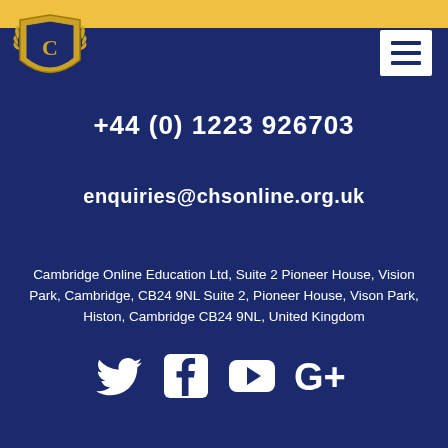[Figure (logo): Cambridge Home School Online crest/shield logo in gold on dark blue background, top left]
+44 (0) 1223 926703
enquiries@chsonline.org.uk
Cambridge Online Education Ltd, Suite 2 Pioneer House, Vision Park, Cambridge, CB24 9NL Suite 2, Pioneer House, Vison Park, Histon, Cambridge CB24 9NL, United Kingdom
[Figure (infographic): Social media icons: Twitter bird, Facebook F, YouTube play button, Google G+ in white]